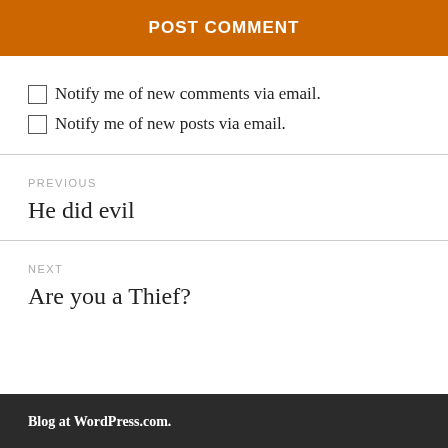POST COMMENT
Notify me of new comments via email.
Notify me of new posts via email.
PREVIOUS
He did evil
NEXT
Are you a Thief?
Blog at WordPress.com.